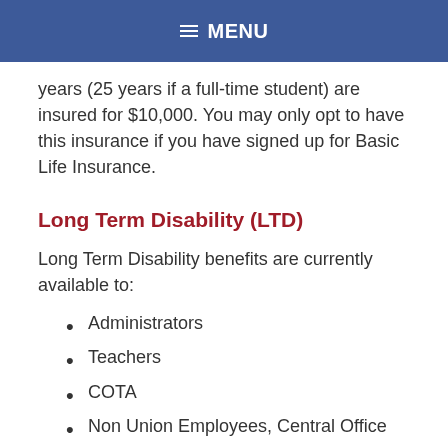≡ MENU
years (25 years if a full-time student) are insured for $10,000.  You may only opt to have this insurance if you have signed up for Basic Life Insurance.
Long Term Disability (LTD)
Long Term Disability benefits are currently available to:
Administrators
Teachers
COTA
Non Union Employees, Central Office
Custodians